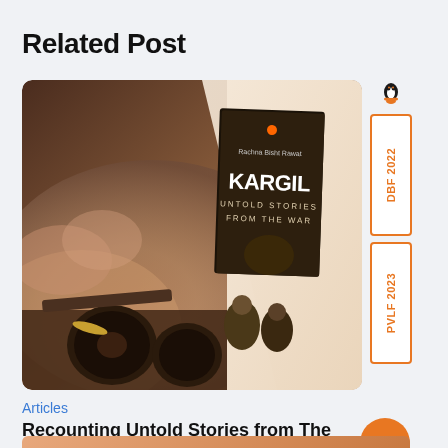Related Post
[Figure (photo): Book cover of 'Kargil: Untold Stories from the War' by Rachna Bisht Rawat overlaid on a war scene with military vehicles and dust, plus orange DBF 2022 and PVLF 2023 badges on the right side.]
Articles
Recounting Untold Stories from The Kargil W